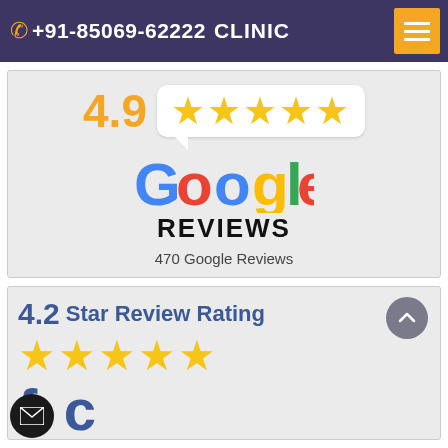+91-85069-62222 CLINIC
[Figure (infographic): Google Reviews badge showing 4.9 star rating with 5 gold stars in a speech bubble, Google multicolor logo, REVIEWS text in black, and 470 Google Reviews count]
[Figure (infographic): 4.2 Star Review Rating with gold stars and partial Facebook logo at bottom]
[Figure (other): Email contact button (dark circle with envelope icon) at bottom left, scroll-to-top button (grey circle with up-chevron) at right of second card]